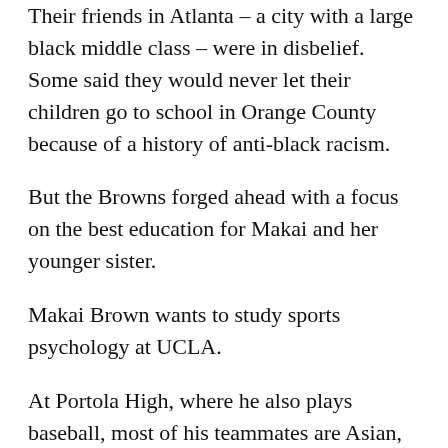Their friends in Atlanta – a city with a large black middle class – were in disbelief. Some said they would never let their children go to school in Orange County because of a history of anti-black racism.
But the Browns forged ahead with a focus on the best education for Makai and her younger sister.
Makai Brown wants to study sports psychology at UCLA.
At Portola High, where he also plays baseball, most of his teammates are Asian, but there are also two other black players. He loves high school, which he says is the “best in Irvine” — and one where classmates and teachers treat everyone with respect.
“When I first watched the video, it was a first shock,” he said. “After a while, it wasn’t really surprising anymore. You